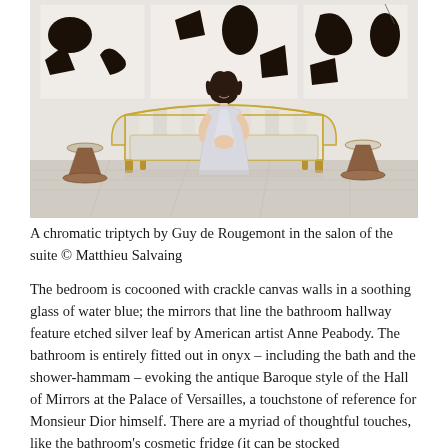[Figure (photo): A woman in a silver/white gown sits smiling on a striped white and gold French sofa. Behind her is a large abstract black-and-white triptych artwork by Guy de Rougemont. Two sculptural side tables flank the sofa. The room has a light-colored marble or stone floor.]
A chromatic triptych by Guy de Rougemont in the salon of the suite © Matthieu Salvaing
The bedroom is cocooned with crackle canvas walls in a soothing glass of water blue; the mirrors that line the bathroom hallway feature etched silver leaf by American artist Anne Peabody. The bathroom is entirely fitted out in onyx – including the bath and the shower-hammam – evoking the antique Baroque style of the Hall of Mirrors at the Palace of Versailles, a touchstone of reference for Monsieur Dior himself. There are a myriad of thoughtful touches, like the bathroom's cosmetic fridge (it can be stocked